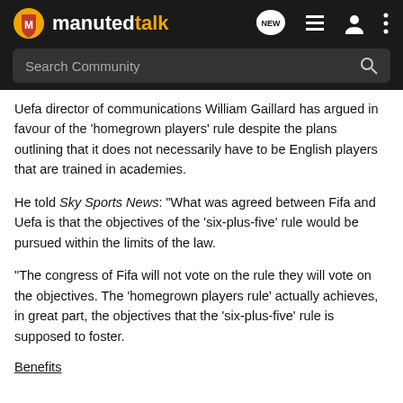manutdtalk — navigation header with logo, NEW, list, user, and menu icons
Search Community
Uefa director of communications William Gaillard has argued in favour of the 'homegrown players' rule despite the plans outlining that it does not necessarily have to be English players that are trained in academies.
He told Sky Sports News: "What was agreed between Fifa and Uefa is that the objectives of the 'six-plus-five' rule would be pursued within the limits of the law.
"The congress of Fifa will not vote on the rule they will vote on the objectives. The 'homegrown players rule' actually achieves, in great part, the objectives that the 'six-plus-five' rule is supposed to foster.
Benefits